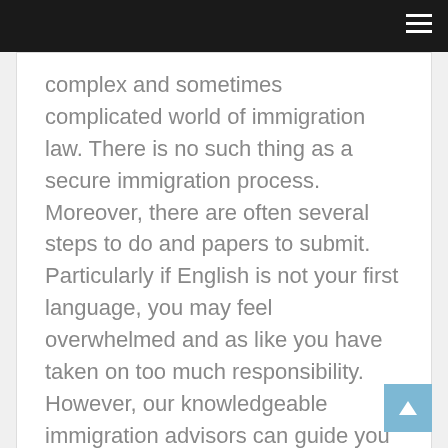navigation bar with hamburger menu
complex and sometimes complicated world of immigration law. There is no such thing as a secure immigration process. Moreover, there are often several steps to do and papers to submit. Particularly if English is not your first language, you may feel overwhelmed and as like you have taken on too much responsibility. However, our knowledgeable immigration advisors can guide you through the whole procedure and assist you in reaching your objective.
Uncategorized - 03/02/2022